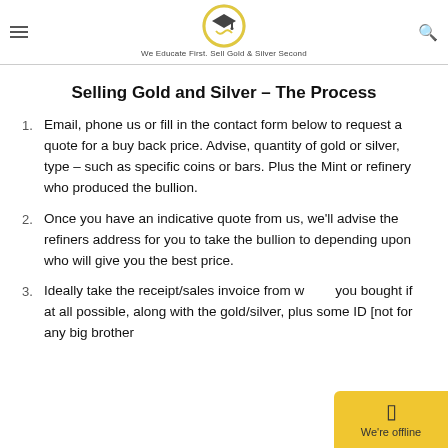We Educate First. Sell Gold & Silver Second
Selling Gold and Silver – The Process
Email, phone us or fill in the contact form below to request a quote for a buy back price. Advise, quantity of gold or silver, type – such as specific coins or bars. Plus the Mint or refinery who produced the bullion.
Once you have an indicative quote from us, we'll advise the refiners address for you to take the bullion to depending upon who will give you the best price.
Ideally take the receipt/sales invoice from where you bought if at all possible, along with the gold/silver, plus some ID [not for any big brother